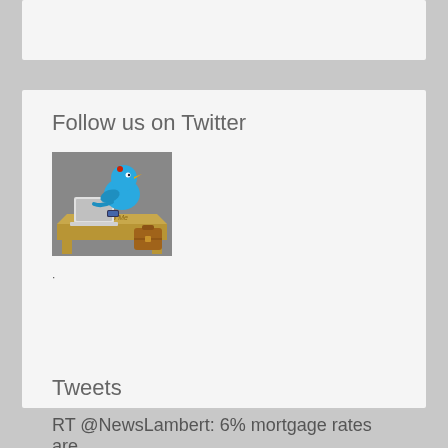Follow us on Twitter
[Figure (illustration): Twitter bird cartoon sitting at a yellow desk with a laptop and briefcase, with text 'Follow Me' on the desk]
·
Tweets
RT @NewsLambert: 6% mortgage rates are